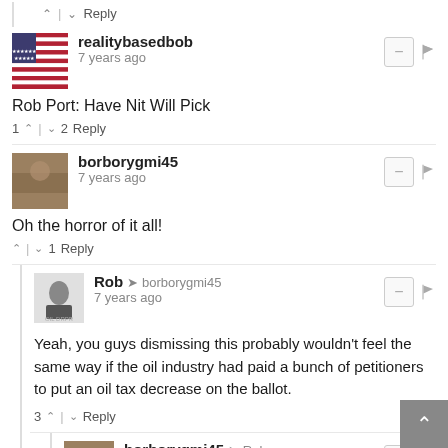↑ | ↓  Reply
realitybasedbob
7 years ago
Rob Port: Have Nit Will Pick
1 ↑ | ↓ 2  Reply
borborygmi45
7 years ago
Oh the horror of it all!
↑ | ↓ 1  Reply
Rob → borborygmi45
7 years ago
Yeah, you guys dismissing this probably wouldn't feel the same way if the oil industry had paid a bunch of petitioners to put an oil tax decrease on the ballot.
3 ↑ | ↓  Reply
borborygmi45 → Rob
7 years ago
They already have that in place. They are called